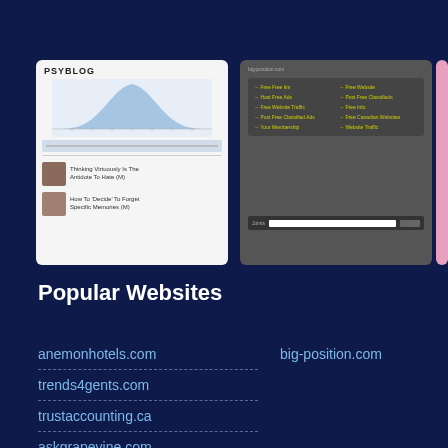[Figure (screenshot): Screenshot of PsyBlog website showing a bell curve chart and two article listings with thumbnail images]
[Figure (screenshot): Screenshot of big-position.com website showing a dark menu with yellow links in two columns and a search/join bar at the bottom]
[Figure (screenshot): Partial screenshot of a third website with pink/magenta branding]
Popular Websites
anemonhotels.com
big-position.com
trends4gents.com
trustaccounting.ca
askgrapevine.com